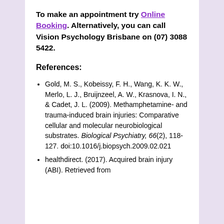To make an appointment try Online Booking. Alternatively, you can call Vision Psychology Brisbane on (07) 3088 5422.
References:
Gold, M. S., Kobeissy, F. H., Wang, K. K. W., Merlo, L. J., Bruijnzeel, A. W., Krasnova, I. N., & Cadet, J. L. (2009). Methamphetamine- and trauma-induced brain injuries: Comparative cellular and molecular neurobiological substrates. Biological Psychiatry, 66(2), 118-127. doi:10.1016/j.biopsych.2009.02.021
healthdirect. (2017). Acquired brain injury (ABI). Retrieved from